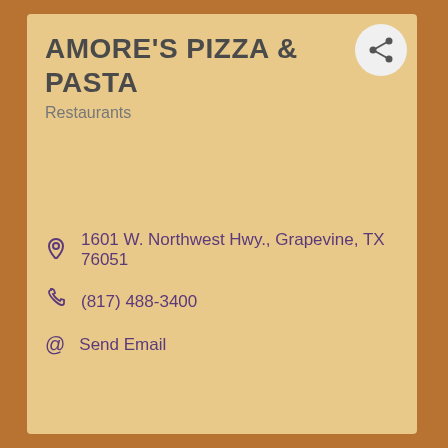AMORE'S PIZZA & PASTA
Restaurants
1601 W. Northwest Hwy., Grapevine, TX 76051
(817) 488-3400
Send Email